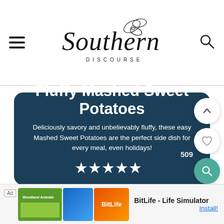Southern Discourse
Fluffy Mashed Sweet Potatoes
Deliciously savory and unbelievably fluffy, these easy Mashed Sweet Potatoes are the perfect side dish for every meal, even holidays!
[Figure (other): Five white star rating icons]
Ad - BitLife - Life Simulator - Install!